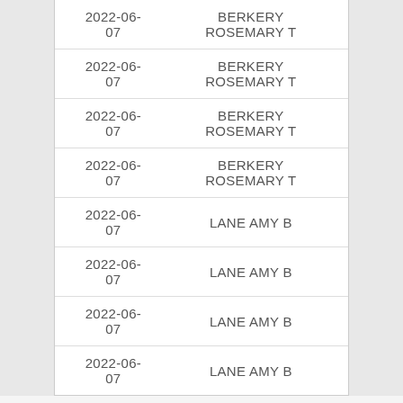| 2022-06-07 | BERKERY ROSEMARY T |
| 2022-06-07 | BERKERY ROSEMARY T |
| 2022-06-07 | BERKERY ROSEMARY T |
| 2022-06-07 | BERKERY ROSEMARY T |
| 2022-06-07 | LANE AMY B |
| 2022-06-07 | LANE AMY B |
| 2022-06-07 | LANE AMY B |
| 2022-06-07 | LANE AMY B |
We use cookies
We use cookies and other tracking technologies to improve your browsing experience on our website, to show you personalized content and targeted ads, to analyze our website traffic, and